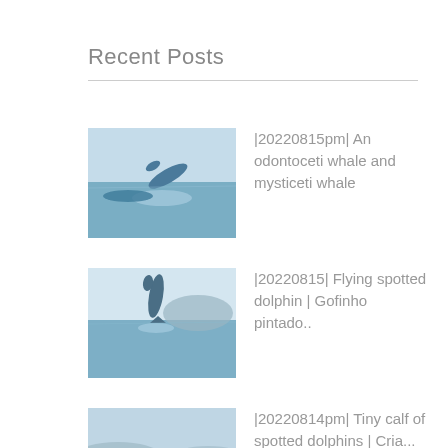Recent Posts
|20220815pm| An odontoceti whale and mysticeti whale
|20220815| Flying spotted dolphin | Gofinho pintado..
|20220814pm| Tiny calf of spotted dolphins | Cria...
|20220814| Breaching sperm whale | Incrivel